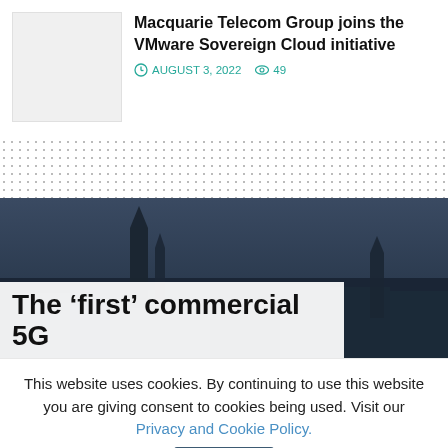Macquarie Telecom Group joins the VMware Sovereign Cloud initiative
AUGUST 3, 2022   49
[Figure (photo): Dotted pattern / advertisement placeholder section]
[Figure (photo): Dark twilight cityscape silhouette with church spires and rooftops]
The ‘first’ commercial 5G
This website uses cookies. By continuing to use this website you are giving consent to cookies being used. Visit our Privacy and Cookie Policy.   I Agree